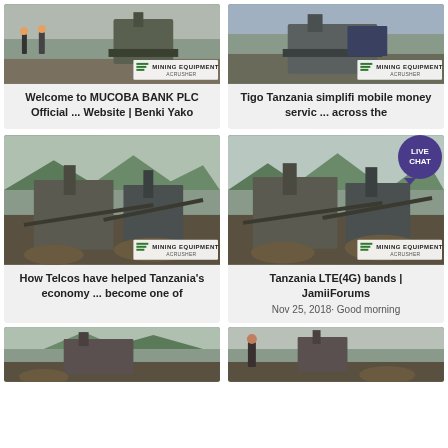[Figure (photo): Mining equipment scene with people and machinery, MINING EQUIPMENT ACRUSHER watermark]
Welcome to MUCOBA BANK PLC Official ... Website | Benki Yako
[Figure (photo): Mining equipment and machinery scene, MINING EQUIPMENT ACRUSHER watermark]
Tigo Tanzania simplifi mobile money servic ... across the
[Figure (photo): Large mining equipment facility scene, MINING EQUIPMENT ACRUSHER watermark]
How Telcos have helped Tanzania's economy ... become one of
[Figure (photo): Large mining equipment facility scene, MINING EQUIPMENT ACRUSHER watermark]
Tanzania LTE(4G) bands | JamiiForums
Nov 25, 2018· Good morning
[Figure (photo): Mining scene bottom left partial]
[Figure (photo): Mining scene bottom right partial]